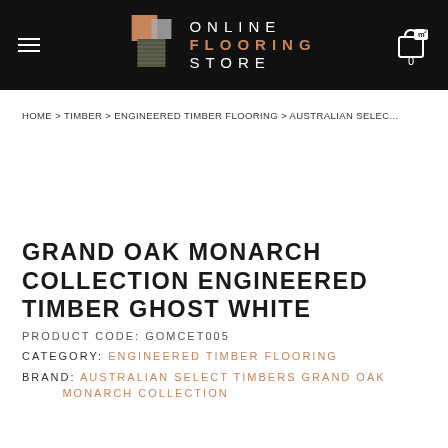Online Flooring Store — navigation header with logo and cart
HOME > TIMBER > ENGINEERED TIMBER FLOORING > AUSTRALIAN SELEC...
GRAND OAK MONARCH COLLECTION ENGINEERED TIMBER GHOST WHITE
PRODUCT CODE: GOMCET005
CATEGORY: ENGINEERED TIMBER FLOORING
BRAND: AUSTRALIAN SELECT TIMBERS GRAND OAK MONARCH COLLECTION